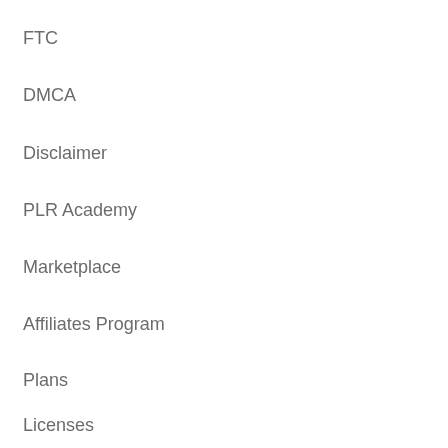FTC
DMCA
Disclaimer
PLR Academy
Marketplace
Affiliates Program
Plans
Licenses
FAQs